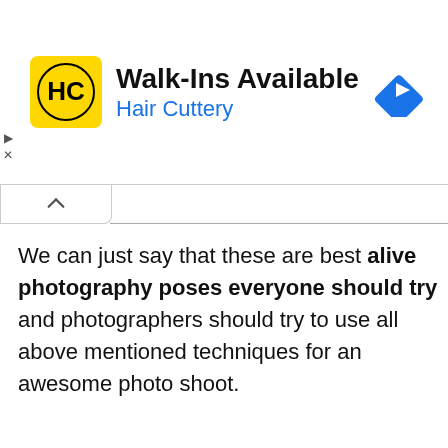[Figure (infographic): Hair Cuttery advertisement banner with yellow logo containing HC initials, text 'Walk-Ins Available' and 'Hair Cuttery' in blue, and a blue diamond-shaped navigation icon on the right.]
We can just say that these are best alive photography poses everyone should try and photographers should try to use all above mentioned techniques for an awesome photo shoot.